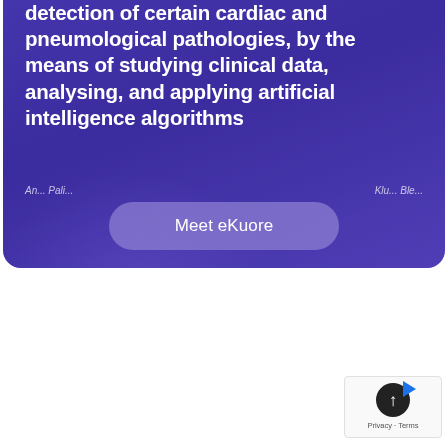[Figure (illustration): Promotional card with purple/violet gradient background showing partial text about cardiac and pneumological pathology detection using AI, with a 'Meet eKuore' button and faint face silhouettes in background. Authors listed as 'An... Pali...' and 'Klu... Ble...'.]
detection of certain cardiac and pneumological pathologies, by the means of studying clinical data, analysing, and applying artificial intelligence algorithms
Meet eKuore